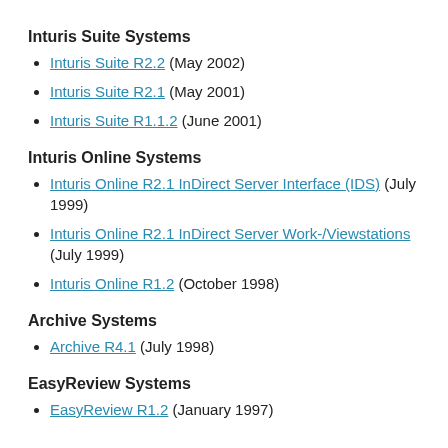Inturis Suite Systems
Inturis Suite R2.2 (May 2002)
Inturis Suite R2.1 (May 2001)
Inturis Suite R1.1.2 (June 2001)
Inturis Online Systems
Inturis Online R2.1 InDirect Server Interface (IDS) (July 1999)
Inturis Online R2.1 InDirect Server Work-/Viewstations (July 1999)
Inturis Online R1.2 (October 1998)
Archive Systems
Archive R4.1 (July 1998)
EasyReview Systems
EasyReview R1.2 (January 1997)